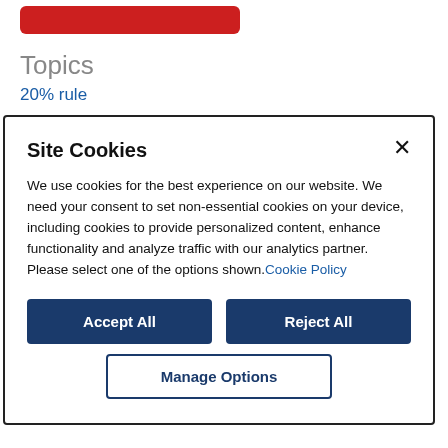[Figure (other): Partial red rounded rectangle bar, cropped at top of page]
Topics
20% rule
Site Cookies
We use cookies for the best experience on our website. We need your consent to set non-essential cookies on your device, including cookies to provide personalized content, enhance functionality and analyze traffic with our analytics partner. Please select one of the options shown. Cookie Policy
Accept All
Reject All
Manage Options